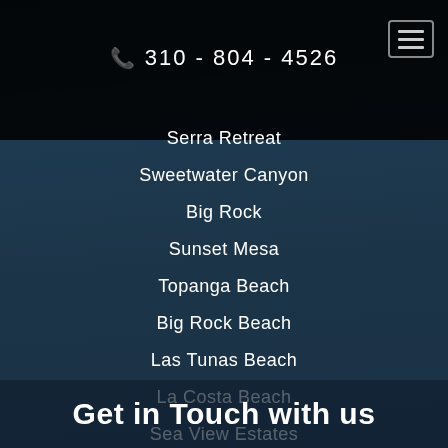310 - 804 - 4526
Serra Retreat
Sweetwater Canyon
Big Rock
Sunset Mesa
Topanga Beach
Big Rock Beach
Las Tunas Beach
La Costa Beach
Sea View Estates
Get in Touch with us